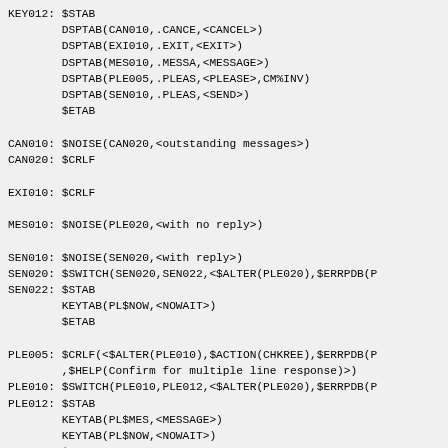KEY012: $STAB
        DSPTAB(CAN010,.CANCE,<CANCEL>)
        DSPTAB(EXI010,.EXIT,<EXIT>)
        DSPTAB(MES010,.MESSA,<MESSAGE>)
        DSPTAB(PLE005,.PLEAS,<PLEASE>,CM%INV)
        DSPTAB(SEN010,.PLEAS,<SEND>)
        $ETAB

CAN010: $NOISE(CAN020,<outstanding messages>)
CAN020: $CRLF

EXI010: $CRLF

MES010: $NOISE(PLE020,<with no reply>)

SEN010: $NOISE(SEN020,<with reply>)
SEN020: $SWITCH(SEN020,SEN022,<$ALTER(PLE020),$ERRPDB(P
SEN022: $STAB
        KEYTAB(PL$NOW,<NOWAIT>)
        $ETAB

PLE005: $CRLF(<$ALTER(PLE010),$ACTION(CHKREE),$ERRPDB(P
        ,$HELP(Confirm for multiple line response)>)
PLE010: $SWITCH(PLE010,PLE012,<$ALTER(PLE020),$ERRPDB(P
PLE012: $STAB
        KEYTAB(PL$MES,<MESSAGE>)
        KEYTAB(PL$NOW,<NOWAIT>)
        $ETAB

PLE020: $NODNM(PLE030,<Node name>,<$ALTER(PLE030),$ERR